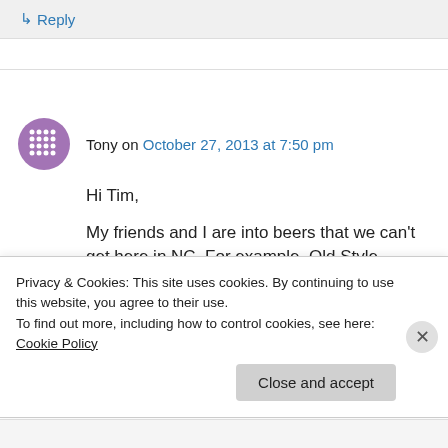↳ Reply
Tony on October 27, 2013 at 7:50 pm
Hi Tim,
My friends and I are into beers that we can't get here in NC. For example, Old Style,
Privacy & Cookies: This site uses cookies. By continuing to use this website, you agree to their use.
To find out more, including how to control cookies, see here: Cookie Policy
Close and accept